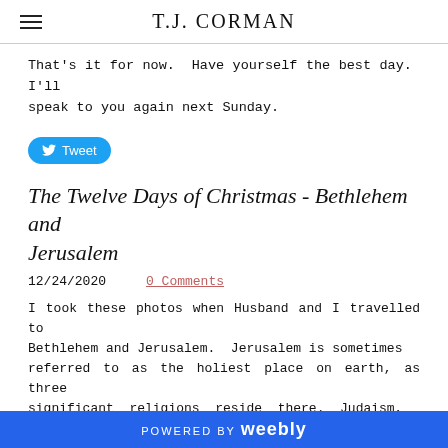T.J. CORMAN
That's it for now. Have yourself the best day. I'll speak to you again next Sunday.
[Figure (other): Twitter Tweet button in blue rounded rectangle]
The Twelve Days of Christmas - Bethlehem and Jerusalem
12/24/2020    0 Comments
I took these photos when Husband and I travelled to Bethlehem and Jerusalem. Jerusalem is sometimes referred to as the holiest place on earth, as three significant religions reside there. Judaism,
POWERED BY weebly